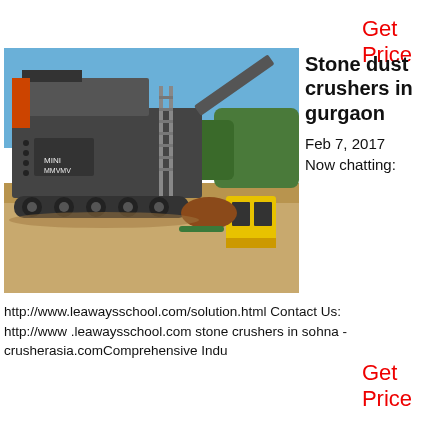Get Price
[Figure (photo): Large industrial mobile stone crusher machine on a dirt ground with blue sky background, showing heavy machinery with tracked wheels, conveyor belts, and yellow auxiliary equipment.]
Stone dust crushers in gurgaon
Feb 7, 2017
Now chatting:
http://www.leawaysschool.com/solution.html Contact Us: http://www .leawaysschool.com stone crushers in sohna - crusherasia.comComprehensive Indu
Get Price